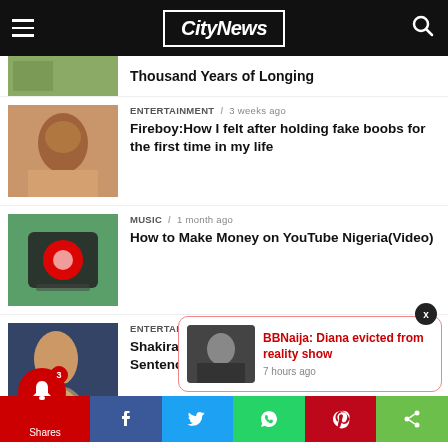City News
Thousand Years of Longing
ENTERTAINMENT / 3 weeks ago
Fireboy:How I felt after holding fake boobs for the first time in my life
MUSIC / 1 month ago
How to Make Money on YouTube Nigeria(Video)
ENTERTAINMENT / 1 month ago
Shakira: Prosecutors Want Long Prison Sentence Over Alleged Tax Fraud in Spain
BBNaija: Diana evicted from reality show — 7 hours ago
Shares — Facebook, Twitter, WhatsApp, Pinterest, Share